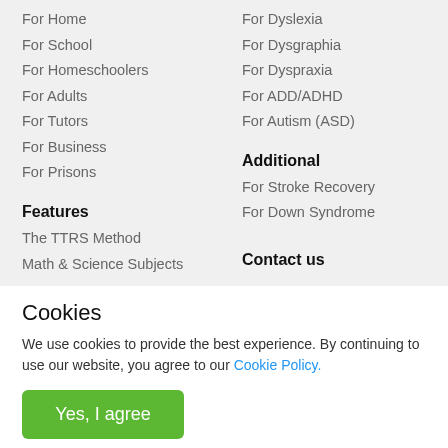For Home
For School
For Homeschoolers
For Adults
For Tutors
For Business
For Prisons
For Dyslexia
For Dysgraphia
For Dyspraxia
For ADD/ADHD
For Autism (ASD)
Additional
For Stroke Recovery
For Down Syndrome
Features
The TTRS Method
Math & Science Subjects
Contact us
Cookies
We use cookies to provide the best experience. By continuing to use our website, you agree to our Cookie Policy.